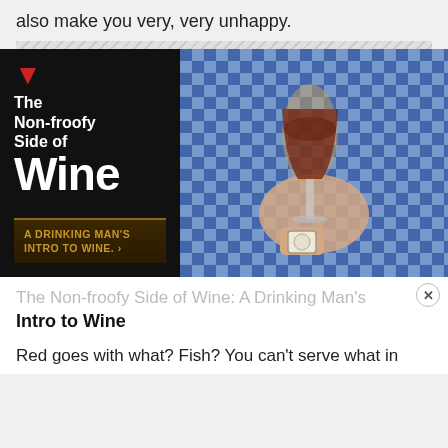also make you very, very unhappy.
[Figure (illustration): Book cover and photo composite: Left side shows a dark book cover with red down arrow, title 'The Non-froofy Side of Wine' in white bold text, and large 'Wine' text, with bottom bar reading 'A DRINKING MAN'S INTRO TO WINE.' Right side shows a man in blue gingham shirt holding a red wine glass while wearing a watch.]
The Non-froofy Side of Wine: A Drinking Man's Intro to Wine
Red goes with what? Fish? You can't serve what in